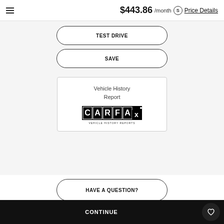$443.86 /month Price Details
TEST DRIVE
SAVE
[Figure (logo): CARFAX Vehicle History Reports logo inside a white card labeled 'Vehicle History Report']
HAVE A QUESTION?
CONTINUE